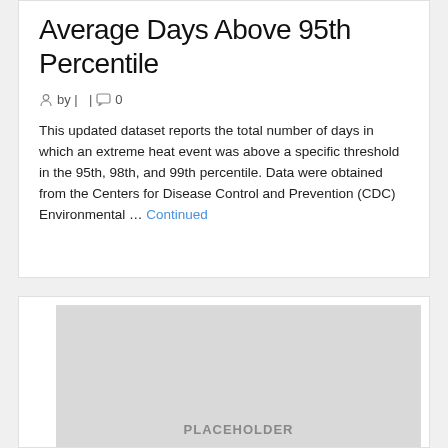Average Days Above 95th Percentile
by |  |  0
This updated dataset reports the total number of days in which an extreme heat event was above a specific threshold in the 95th, 98th, and 99th percentile. Data were obtained from the Centers for Disease Control and Prevention (CDC) Environmental … Continued
[Figure (other): Gray placeholder image box, partially visible at the bottom of the page]